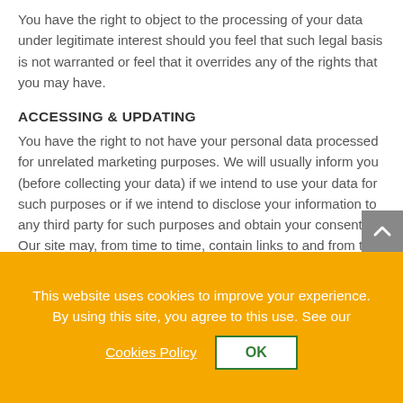You have the right to object to the processing of your data under legitimate interest should you feel that such legal basis is not warranted or feel that it overrides any of the rights that you may have.
ACCESSING & UPDATING
You have the right to not have your personal data processed for unrelated marketing purposes. We will usually inform you (before collecting your data) if we intend to use your data for such purposes or if we intend to disclose your information to any third party for such purposes and obtain your consent.
Our site may, from time to time, contain links to and from the websites of our partner networks, advertisers
This website uses cookies to improve your experience. By using this site, you agree to this use. See our
Cookies Policy   OK